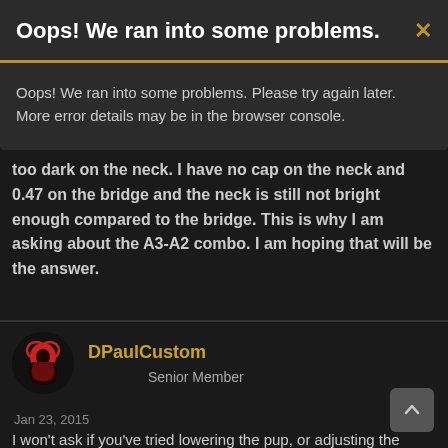[Figure (screenshot): Error modal dialog with dark background. Header reads 'Oops! We ran into some problems.' with a gold X close button. Body text: 'Oops! We ran into some problems. Please try again later. More error details may be in the browser console.']
too dark on the neck. I have no cap on the neck and 0.47 on the bridge and the neck is still not bright enough compared to the bridge. This is why I am asking about the A3-A2 combo. I am hoping that will be the answer.
DPaulCustom
Senior Member
Jan 23, 2015
#5
I won't ask if you've tried lowering the pup, or adjusting the poles, but might suggest a treble bleed.
Beyond that, an a3, or uoa5 "might" help.
There's a thread around here somewhere discussing ways to brighten the neck position.